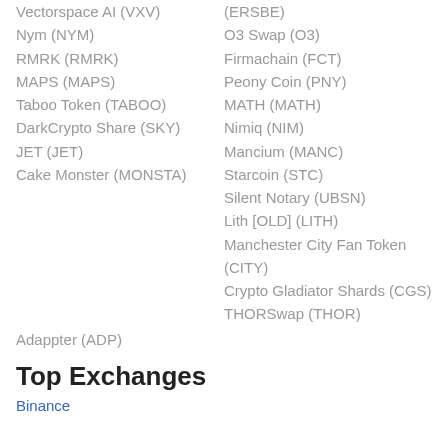Vectorspace AI (VXV)
(ERSBE)
Nym (NYM)
O3 Swap (O3)
RMRK (RMRK)
Firmachain (FCT)
MAPS (MAPS)
Peony Coin (PNY)
Taboo Token (TABOO)
MATH (MATH)
DarkCrypto Share (SKY)
Nimiq (NIM)
JET (JET)
Mancium (MANC)
Cake Monster (MONSTA)
Starcoin (STC)
Silent Notary (UBSN)
Lith [OLD] (LITH)
Manchester City Fan Token (CITY)
Crypto Gladiator Shards (CGS)
THORSwap (THOR)
Adappter (ADP)
Top Exchanges
Binance